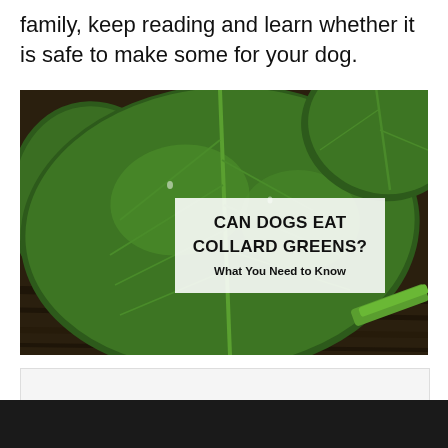family, keep reading and learn whether it is safe to make some for your dog.
[Figure (photo): Close-up photo of large collard green leaves on a dark wooden surface, with an overlaid text box reading 'CAN DOGS EAT COLLARD GREENS? What You Need to Know']